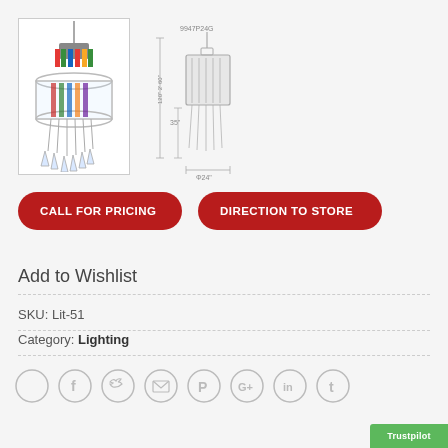[Figure (photo): Chandelier product photo showing a decorative chandelier with colorful accents and glass shade]
[Figure (engineering-diagram): Technical line diagram of chandelier with dimensions: 9947P24G, 120 2 60, 35 inches height, Φ24 inches diameter]
CALL FOR PRICING
DIRECTION TO STORE
Add to Wishlist
SKU: Lit-51
Category: Lighting
[Figure (other): Social sharing icons row: empty circle, Facebook, Twitter, Email, Pinterest, Google+, LinkedIn, Tumblr]